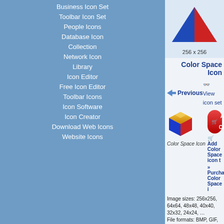Business Icon Set
Toolbar Icon Set
People Icons
Database Icon Collection
Network Icon Library
Icon Editor
Free Icon Editor
Toolbar Icons
Icon Software
Icon Creator
Download Web Icons
Website Icons
[Figure (illustration): 3D colorful icon preview at 256x256 size]
256 x 256
Color Space Icon
Previous
View icon set
[Figure (illustration): Color Space Icon - a 3D cube with blue, red, and yellow faces]
Color Space Icon
ADD TO CART
Add Color Space icon t
Purchase Color Space i
Image sizes: 256x256, 64x64, 48x48, 40x40, 32x32, 24x24, …
File formats: BMP, GIF, PNG, ICO
Purchase entire Design Icon Set now!
View Design Icon Set now!
Download demo icons
Tags: hypnotoad aim icon, icons on ifonz, design icon, windows xp black icons